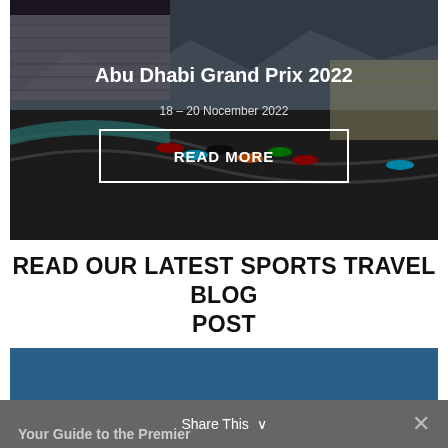[Figure (photo): Aerial/trackside photo of Abu Dhabi Grand Prix 2022 Formula 1 race with multiple cars on the circuit, grandstands visible in background, overlaid with title text, date, and READ MORE button]
Abu Dhabi Grand Prix 2022
18 – 20 Nocember 2022
READ MORE
READ OUR LATEST SPORTS TRAVEL BLOG POST
[Figure (photo): Blog card image with dark blue background (partially visible)]
Share This ∨
Your Guide to the Premier